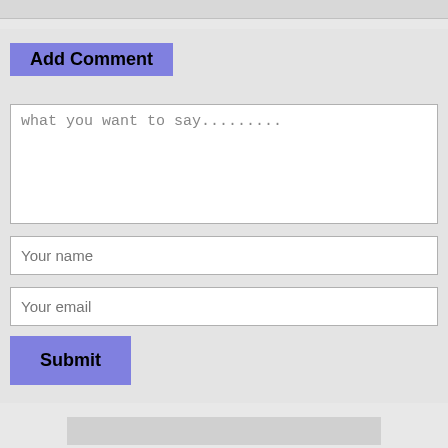Add Comment
what you want to say.........
Your name
Your email
Submit